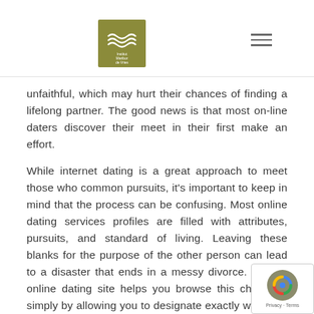Institut Maribor de Vries logo and navigation
unfaithful, which may hurt their chances of finding a lifelong partner. The good news is that most on-line daters discover their meet in their first make an effort.
While internet dating is a great approach to meet those who common pursuits, it's important to keep in mind that the process can be confusing. Most online dating services profiles are filled with attributes, pursuits, and standard of living. Leaving these blanks for the purpose of the other person can lead to a disaster that ends in a messy divorce. A good online dating site helps you browse this challenge simply by allowing you to designate exactly what you are looking for in a person.